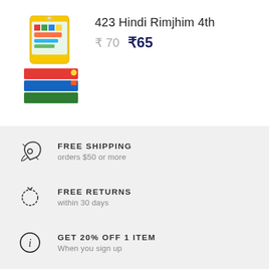[Figure (photo): Product image of 423 Hindi Rimjhim 4th book/educational kit with colorful packaging]
423 Hindi Rimjhim 4th
₹ 70  ₹65
FREE SHIPPING
orders $50 or more
FREE RETURNS
within 30 days
GET 20% OFF 1 ITEM
When you sign up
WE SUPPORT